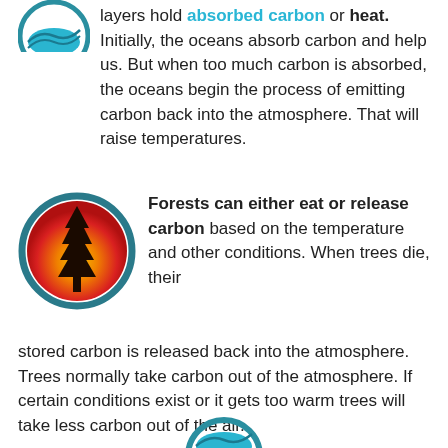[Figure (illustration): Partial circular icon showing ocean/water layers in teal/blue at the top of the page, partially cropped]
layers hold absorbed carbon or heat. Initially, the oceans absorb carbon and help us. But when too much carbon is absorbed, the oceans begin the process of emitting carbon back into the atmosphere. That will raise temperatures.
[Figure (illustration): Circular icon with teal border showing a tree silhouette against a red-orange-yellow gradient background representing a forest/heat concept]
Forests can either eat or release carbon based on the temperature and other conditions. When trees die, their stored carbon is released back into the atmosphere. Trees normally take carbon out of the atmosphere. If certain conditions exist or it gets too warm trees will take less carbon out of the air.
[Figure (illustration): Partial circular icon at bottom of page, partially cropped, teal/blue color]